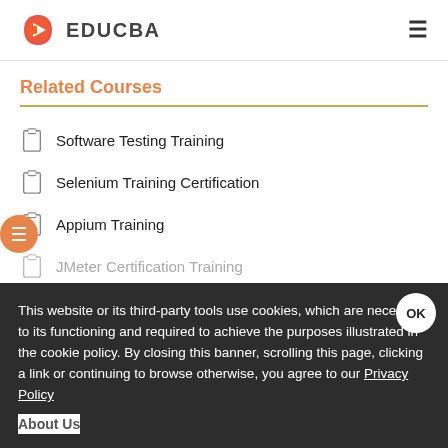EDUCBA
Related Courses
Software Testing Training
Selenium Training Certification
Appium Training
JMeter Certification Training
This website or its third-party tools use cookies, which are necessary to its functioning and required to achieve the purposes illustrated in the cookie policy. By closing this banner, scrolling this page, clicking a link or continuing to browse otherwise, you agree to our Privacy Policy
About Us